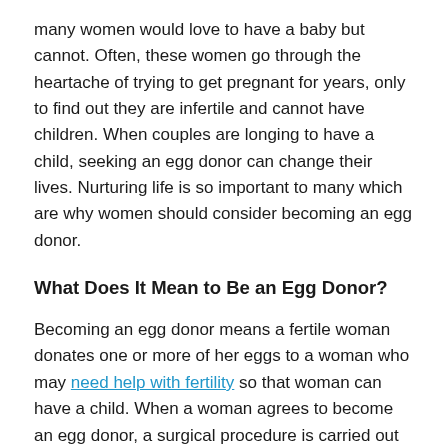many women would love to have a baby but cannot. Often, these women go through the heartache of trying to get pregnant for years, only to find out they are infertile and cannot have children. When couples are longing to have a child, seeking an egg donor can change their lives. Nurturing life is so important to many which are why women should consider becoming an egg donor.
What Does It Mean to Be an Egg Donor?
Becoming an egg donor means a fertile woman donates one or more of her eggs to a woman who may need help with fertility so that woman can have a child. When a woman agrees to become an egg donor, a surgical procedure is carried out to remove some of her eggs. These eggs are then fertilized in a laboratory and the fertilized eggs are implanted in the recipient's uterus via a process called in-vitro fertilization. Women can also donate to a facility and have their eggs